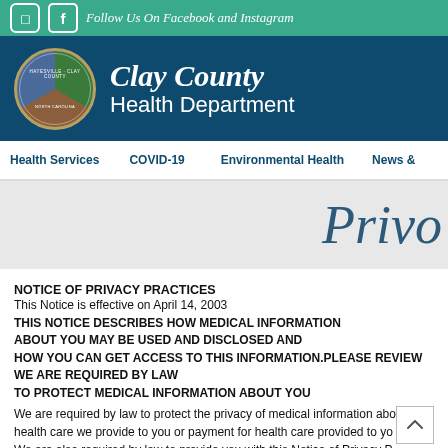Follow Us On Facebook and Instagram
Clay County Health Department
Health Services   COVID-19   Environmental Health   News &
Privo
NOTICE OF PRIVACY PRACTICES
This Notice is effective on April 14, 2003
THIS NOTICE DESCRIBES HOW MEDICAL INFORMATION ABOUT YOU MAY BE USED AND DISCLOSED AND HOW YOU CAN GET ACCESS TO THIS INFORMATION.PLEASE REVIEW WE ARE REQUIRED BY LAW TO PROTECT MEDICAL INFORMATION ABOUT YOU
We are required by law to protect the privacy of medical information abo health care we provide to you or payment for health care provided to yo We are also required by law to provide you with this Notice of Privacy P